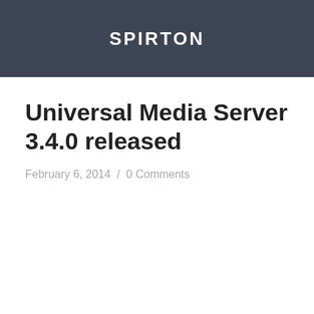SPIRTON
Universal Media Server 3.4.0 released
February 6, 2014  /  0 Comments